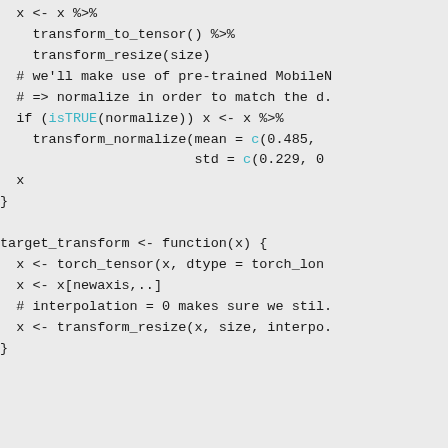x <- x %>%
    transform_to_tensor() %>%
    transform_resize(size)
  # we'll make use of pre-trained MobileN
  # => normalize in order to match the d.
  if (isTRUE(normalize)) x <- x %>%
    transform_normalize(mean = c(0.485,
                        std = c(0.229, 0
  x
}

target_transform <- function(x) {
  x <- torch_tensor(x, dtype = torch_lon
  x <- x[newaxis,..]
  # interpolation = 0 makes sure we stil.
  x <- transform_resize(x, size, interpo.
}